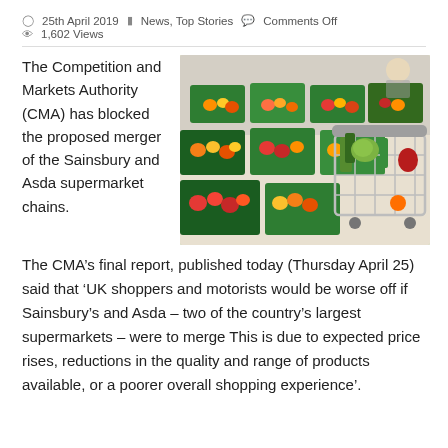25th April 2019   News, Top Stories   Comments Off   1,602 Views
The Competition and Markets Authority (CMA) has blocked the proposed merger of the Sainsbury and Asda supermarket chains.
[Figure (photo): Supermarket produce aisle with green crates of fruit and vegetables, and a shopping trolley filled with fresh produce in the foreground.]
The CMA’s final report, published today (Thursday April 25)  said that ‘UK shoppers and motorists would be worse off if Sainsbury’s and Asda – two of the country’s largest supermarkets – were to merge This is due to expected price rises, reductions in the quality and range of products available, or a poorer overall shopping experience’.